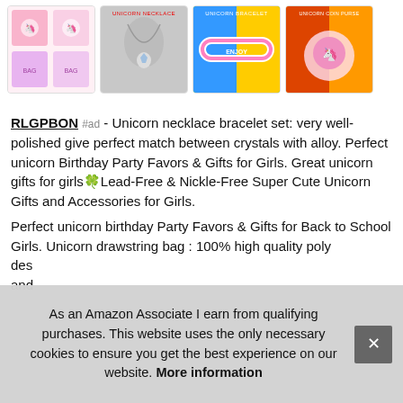[Figure (photo): Row of four product thumbnail images: unicorn drawstring bag set, unicorn necklace, unicorn bracelet, unicorn coin purse accessories]
RLGPBON #ad - Unicorn necklace bracelet set: very well-polished give perfect match between crystals with alloy. Perfect unicorn Birthday Party Favors & Gifts for Girls. Great unicorn gifts for girls🍀Lead-Free & Nickle-Free Super Cute Unicorn Gifts and Accessories for Girls.
Perfect unicorn birthday Party Favors & Gifts for Back to School Girls. Unicorn drawstring bag : 100% high quality poly des and
As an Amazon Associate I earn from qualifying purchases. This website uses the only necessary cookies to ensure you get the best experience on our website. More information